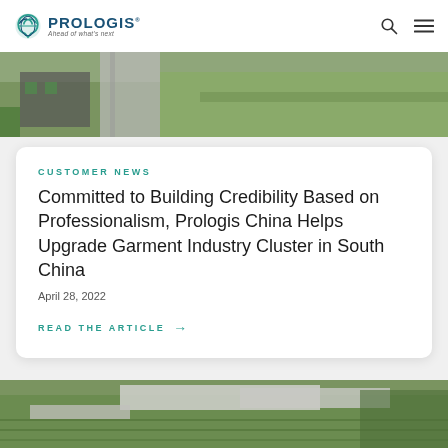PROLOGIS — Ahead of what's next
[Figure (photo): Aerial view of a Prologis logistics facility with road and green fields]
CUSTOMER NEWS
Committed to Building Credibility Based on Professionalism, Prologis China Helps Upgrade Garment Industry Cluster in South China
April 28, 2022
READ THE ARTICLE →
[Figure (photo): Aerial view of a large Prologis industrial/logistics campus with warehouses and green fields]